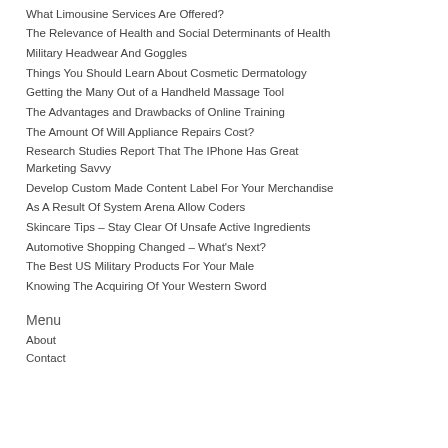What Limousine Services Are Offered?
The Relevance of Health and Social Determinants of Health
Military Headwear And Goggles
Things You Should Learn About Cosmetic Dermatology
Getting the Many Out of a Handheld Massage Tool
The Advantages and Drawbacks of Online Training
The Amount Of Will Appliance Repairs Cost?
Research Studies Report That The IPhone Has Great Marketing Savvy
Develop Custom Made Content Label For Your Merchandise
As A Result Of System Arena Allow Coders
Skincare Tips – Stay Clear Of Unsafe Active Ingredients
Automotive Shopping Changed – What's Next?
The Best US Military Products For Your Male
Knowing The Acquiring Of Your Western Sword
Menu
About
Contact